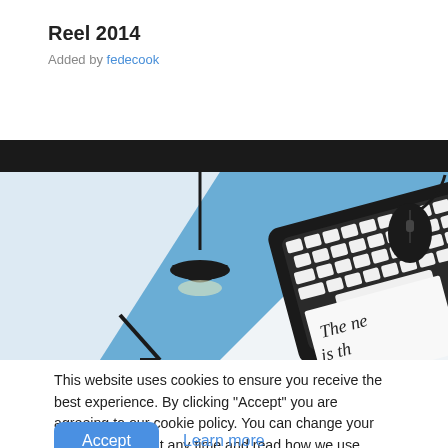Reel 2014
Added by fedecook
[Figure (illustration): A stylized flat-design illustration showing a computer keyboard, computer mouse, and a pendant lamp on a blue and white desk surface. A partially visible paper reads 'The ne... is th...']
This website uses cookies to ensure you receive the best experience. By clicking "Accept" you are agreeing to our cookie policy. You can change your cookies setting at any time and read how we use them in our  Privacy &  Cookies Policy.
Accept
Learn more